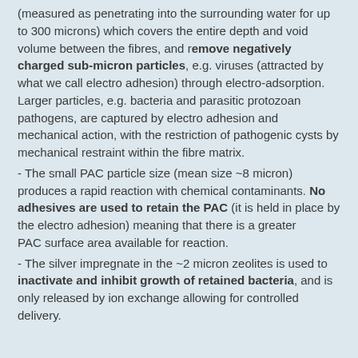(measured as penetrating into the surrounding water for up to 300 microns) which covers the entire depth and void volume between the fibres, and remove negatively charged sub-micron particles, e.g. viruses (attracted by what we call electro adhesion) through electro-adsorption. Larger particles, e.g. bacteria and parasitic protozoan pathogens, are captured by electro adhesion and mechanical action, with the restriction of pathogenic cysts by mechanical restraint within the fibre matrix.
- The small PAC particle size (mean size ~8 micron) produces a rapid reaction with chemical contaminants. No adhesives are used to retain the PAC (it is held in place by the electro adhesion) meaning that there is a greater PAC surface area available for reaction.
- The silver impregnate in the ~2 micron zeolites is used to inactivate and inhibit growth of retained bacteria, and is only released by ion exchange allowing for controlled delivery.